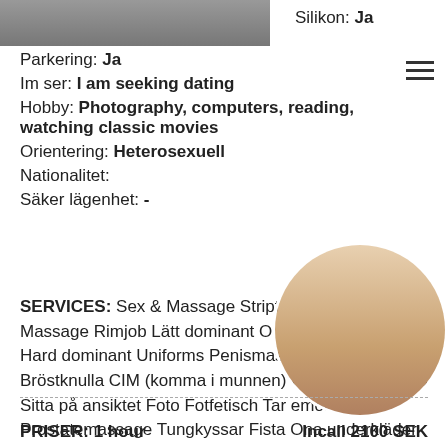[Figure (photo): Partial photo of a person at the top left]
Silikon: Ja
Parkering: Ja
Im ser: I am seeking dating
Hobby: Photography, computers, reading, watching classic movies
Orientering: Heterosexuell
Nationalitet:
Säker lägenhet: -
SERVICES: Sex & Massage Striptease Kropp Massage Rimjob Lätt dominant Oralsex vid duschning Hard dominant Uniforms Penismassage Fetischer Bröstknulla CIM (komma i munnen) Högklackat/stövlar Sitta på ansiktet Foto Fotfetisch Tar emot Prostatemassage Tungkyssar Fista Ona underkläder
[Figure (photo): Circular cropped photo of a person's torso]
PRISER: 1 hour    Incall 2100 SEK